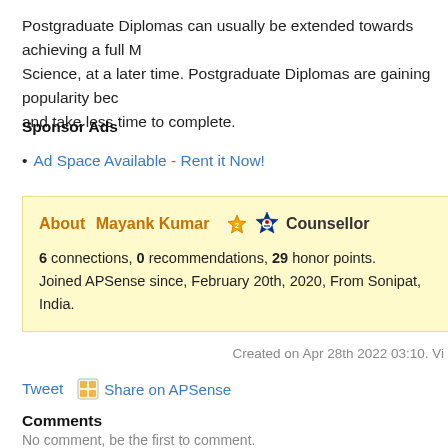Postgraduate Diplomas can usually be extended towards achieving a full M Science, at a later time. Postgraduate Diplomas are gaining popularity bec and take less time to complete.
Sponsor Ads
Ad Space Available - Rent it Now!
About Mayank Kumar [star] [badge] Counsellor
6 connections, 0 recommendations, 29 honor points.
Joined APSense since, February 20th, 2020, From Sonipat, India.
Created on Apr 28th 2022 03:10. Vi
Tweet    Share on APSense
Comments
No comment, be the first to comment.